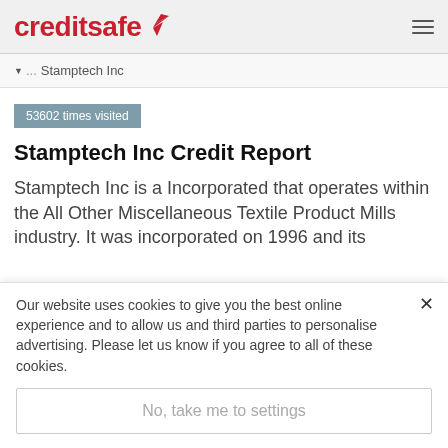creditsafe
▼...  Stamptech Inc
53602 times visited
Stamptech Inc Credit Report
Stamptech Inc is a Incorporated that operates within the All Other Miscellaneous Textile Product Mills industry. It was incorporated on 1996 and its
Our website uses cookies to give you the best online experience and to allow us and third parties to personalise advertising. Please let us know if you agree to all of these cookies.
No, take me to settings